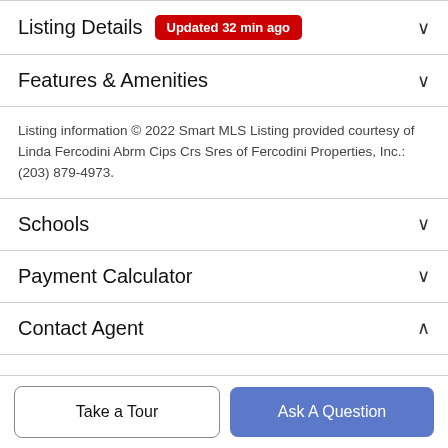Listing Details  Updated 32 min ago
Features & Amenities
Listing information © 2022 Smart MLS Listing provided courtesy of Linda Fercodini Abrm Cips Crs Sres of Fercodini Properties, Inc.: (203) 879-4973.
Schools
Payment Calculator
Contact Agent
Take a Tour
Ask A Question